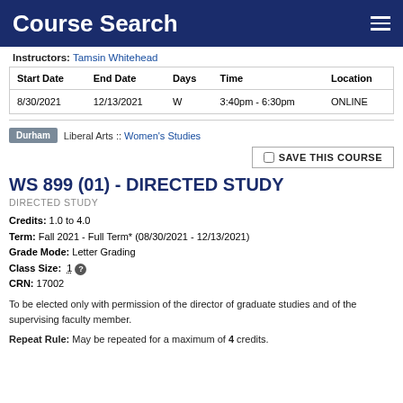Course Search
Instructors: Tamsin Whitehead
| Start Date | End Date | Days | Time | Location |
| --- | --- | --- | --- | --- |
| 8/30/2021 | 12/13/2021 | W | 3:40pm - 6:30pm | ONLINE |
Durham | Liberal Arts :: Women's Studies
WS 899 (01) - DIRECTED STUDY
DIRECTED STUDY
Credits: 1.0 to 4.0
Term: Fall 2021 - Full Term* (08/30/2021 - 12/13/2021)
Grade Mode: Letter Grading
Class Size: 1
CRN: 17002
To be elected only with permission of the director of graduate studies and of the supervising faculty member.
Repeat Rule: May be repeated for a maximum of 4 credits.